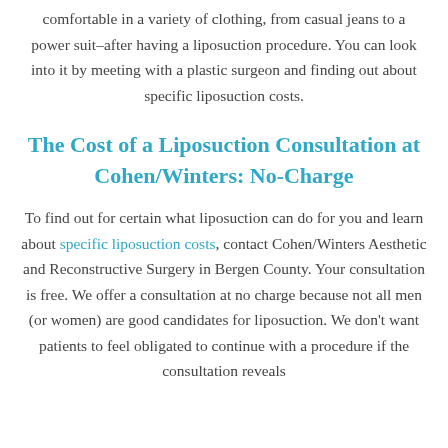comfortable in a variety of clothing, from casual jeans to a power suit–after having a liposuction procedure. You can look into it by meeting with a plastic surgeon and finding out about specific liposuction costs.
The Cost of a Liposuction Consultation at Cohen/Winters: No-Charge
To find out for certain what liposuction can do for you and learn about specific liposuction costs, contact Cohen/Winters Aesthetic and Reconstructive Surgery in Bergen County. Your consultation is free. We offer a consultation at no charge because not all men (or women) are good candidates for liposuction. We don't want patients to feel obligated to continue with a procedure if the consultation reveals